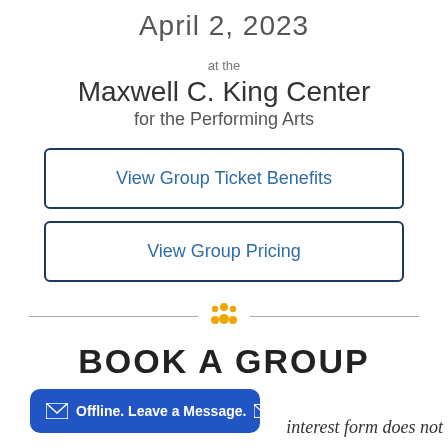April 2, 2023
at the
Maxwell C. King Center for the Performing Arts
View Group Ticket Benefits
View Group Pricing
BOOK A GROUP
Offline. Leave a Message.
interest form does not